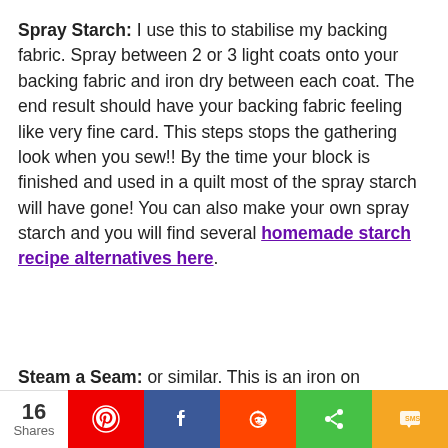Spray Starch: I use this to stabilise my backing fabric. Spray between 2 or 3 light coats onto your backing fabric and iron dry between each coat. The end result should have your backing fabric feeling like very fine card. This steps stops the gathering look when you sew!! By the time your block is finished and used in a quilt most of the spray starch will have gone! You can also make your own spray starch and you will find several homemade starch recipe alternatives here.
Steam a Seam: or similar. This is an iron on
[Figure (infographic): Social sharing bar with share count (16 Shares), Pinterest, Facebook, Reddit, generic share, and SMS buttons]